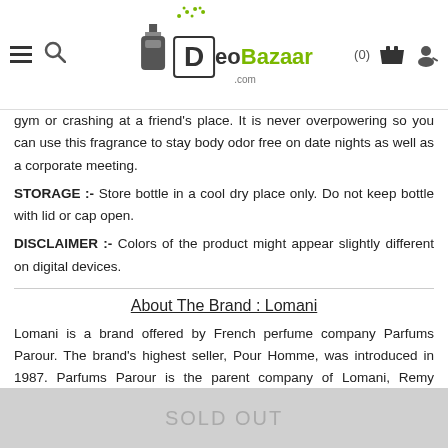DeoBazaar (0)
gym or crashing at a friend's place. It is never overpowering so you can use this fragrance to stay body odor free on date nights as well as a corporate meeting.
STORAGE :- Store bottle in a cool dry place only. Do not keep bottle with lid or cap open.
DISCLAIMER :- Colors of the product might appear slightly different on digital devices.
About The Brand : Lomani
Lomani is a brand offered by French perfume company Parfums Parour. The brand's highest seller, Pour Homme, was introduced in 1987. Parfums Parour is the parent company of Lomani, Remy LaTour, Kristel Saint Martin, Giorgio Valenti and Vizzari, and holds the licenses for fragrances created for Hedieh Tehrani, Amitabh Bachchan and Pinky Girls.
SOLD OUT